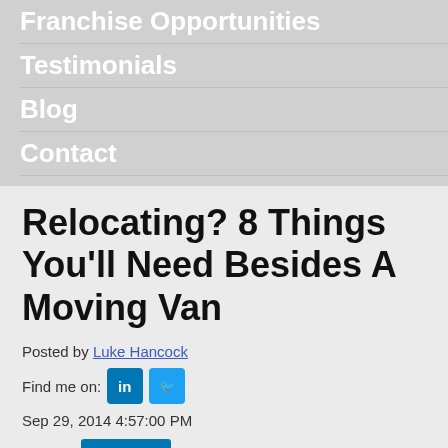Franchise Opportunities
Testimonials
Blog
Contact
Relocating? 8 Things You’ll Need Besides A Moving Van
Posted by Luke Hancock
Find me on: [LinkedIn] [Twitter]
Sep 29, 2014 4:57:00 PM
Tweet  Share
Moves often rank among life’s more traumatic events. But a little planning